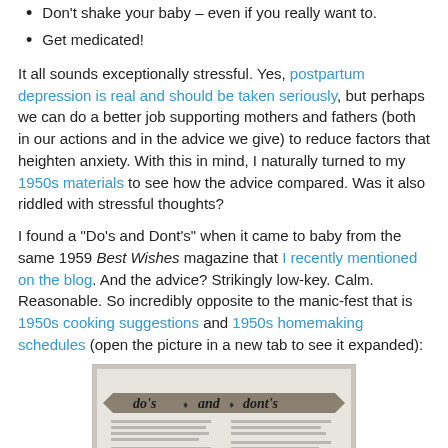Don't shake your baby – even if you really want to.
Get medicated!
It all sounds exceptionally stressful. Yes, postpartum depression is real and should be taken seriously, but perhaps we can do a better job supporting mothers and fathers (both in our actions and in the advice we give) to reduce factors that heighten anxiety. With this in mind, I naturally turned to my 1950s materials to see how the advice compared. Was it also riddled with stressful thoughts?
I found a "Do's and Dont's" when it came to baby from the same 1959 Best Wishes magazine that I recently mentioned on the blog. And the advice? Strikingly low-key. Calm. Reasonable. So incredibly opposite to the manic-fest that is 1950s cooking suggestions and 1950s homemaking schedules (open the picture in a new tab to see it expanded):
[Figure (photo): A photograph of a 1959 Best Wishes magazine page showing a 'do's and dont's' banner/ribbon heading with text columns below listing baby care advice.]